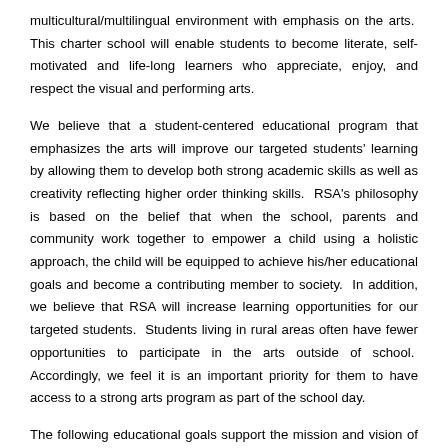multicultural/multilingual environment with emphasis on the arts. This charter school will enable students to become literate, self-motivated and life-long learners who appreciate, enjoy, and respect the visual and performing arts.
We believe that a student-centered educational program that emphasizes the arts will improve our targeted students' learning by allowing them to develop both strong academic skills as well as creativity reflecting higher order thinking skills. RSA's philosophy is based on the belief that when the school, parents and community work together to empower a child using a holistic approach, the child will be equipped to achieve his/her educational goals and become a contributing member to society. In addition, we believe that RSA will increase learning opportunities for our targeted students. Students living in rural areas often have fewer opportunities to participate in the arts outside of school. Accordingly, we feel it is an important priority for them to have access to a strong arts program as part of the school day.
The following educational goals support the mission and vision of Redding School of the Arts and address the needs of all students including